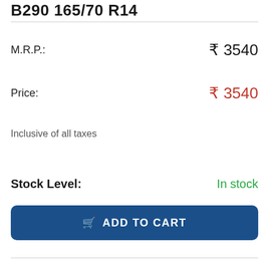B290 165/70 R14
M.R.P.:  ₹ 3540
Price:  ₹ 3540
Inclusive of all taxes
Stock Level:  In stock
ADD TO CART